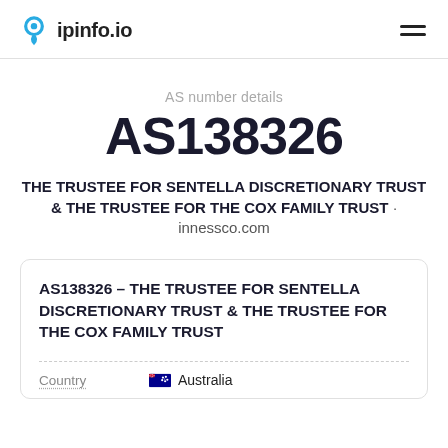ipinfo.io
AS number details
AS138326
THE TRUSTEE FOR SENTELLA DISCRETIONARY TRUST & THE TRUSTEE FOR THE COX FAMILY TRUST · innessco.com
AS138326 – THE TRUSTEE FOR SENTELLA DISCRETIONARY TRUST & THE TRUSTEE FOR THE COX FAMILY TRUST
| Country |  |
| --- | --- |
| Country | 🇦🇺 Australia |